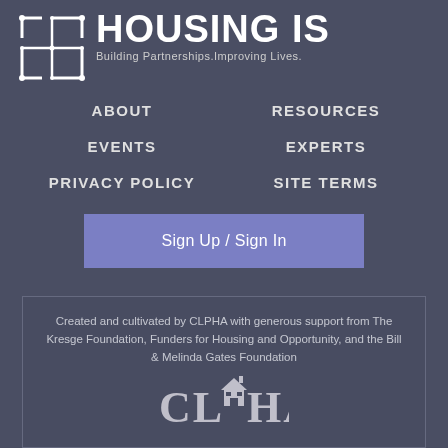[Figure (logo): Housing Is logo with geometric house/grid icon and text HOUSING IS, Building Partnerships. Improving Lives.]
ABOUT
RESOURCES
EVENTS
EXPERTS
PRIVACY POLICY
SITE TERMS
Sign Up / Sign In
Created and cultivated by CLPHA with generous support from The Kresge Foundation, Funders for Housing and Opportunity, and the Bill & Melinda Gates Foundation
[Figure (logo): CLPHA logo with house/building icon]